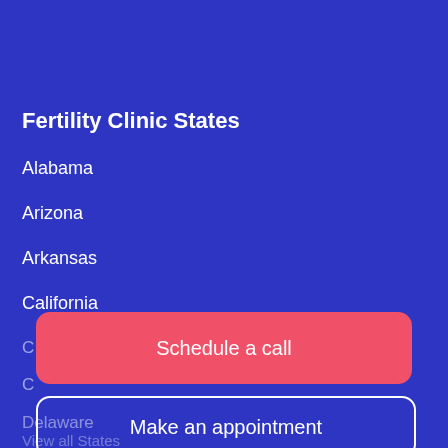Fertility Clinic States
Alabama
Arizona
Arkansas
California
Colorado (partially visible)
Connecticut (partially visible)
Delaware (partially visible)
View all States (partially visible)
Schedule a call
Make an appointment